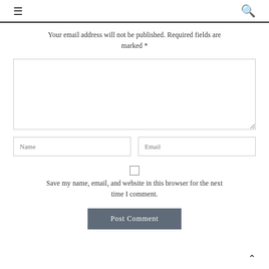☰ 🔍
Your email address will not be published. Required fields are marked *
[Figure (other): Large comment textarea input box]
[Figure (other): Name and Email input fields side by side]
[Figure (other): Checkbox for saving name, email, and website]
Save my name, email, and website in this browser for the next time I comment.
[Figure (other): Post Comment button]
↑